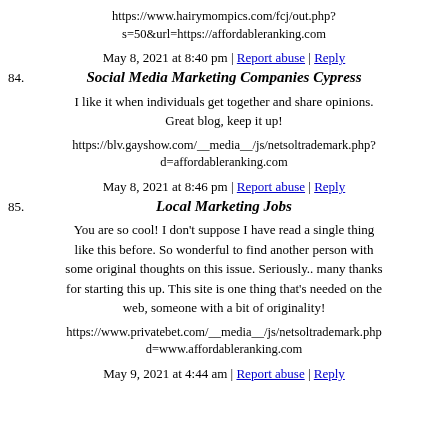https://www.hairymompics.com/fcj/out.php?s=50&url=https://affordableranking.com
May 8, 2021 at 8:40 pm | Report abuse | Reply
84. Social Media Marketing Companies Cypress
I like it when individuals get together and share opinions. Great blog, keep it up!
https://blv.gayshow.com/__media__/js/netsoltrademark.php?d=affordableranking.com
May 8, 2021 at 8:46 pm | Report abuse | Reply
85. Local Marketing Jobs
You are so cool! I don't suppose I have read a single thing like this before. So wonderful to find another person with some original thoughts on this issue. Seriously.. many thanks for starting this up. This site is one thing that's needed on the web, someone with a bit of originality!
https://www.privatebet.com/__media__/js/netsoltrademark.php?d=www.affordableranking.com
May 9, 2021 at 4:44 am | Report abuse | Reply